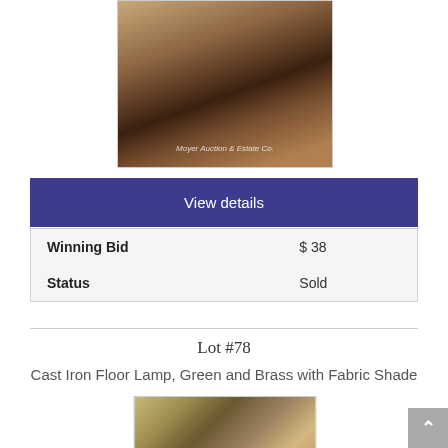[Figure (photo): Photo of antique table with dark iron legs on wooden floor, watermark reads 'Moyer Auction & Estate Co.']
View details
| Winning Bid | $ 38 |
| Status | Sold |
Lot #78
Cast Iron Floor Lamp, Green and Brass with Fabric Shade
[Figure (photo): Photo of a cast iron floor lamp with fabric shade against a patterned wall]